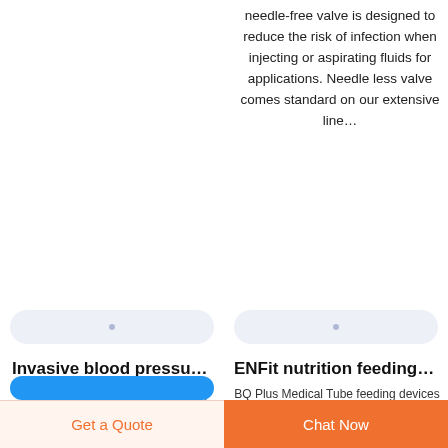needle-free valve is designed to reduce the risk of infection when injecting or aspirating fluids for applications. Needle less valve comes standard on our extensive line…
[Figure (other): Pill-shaped light blue button/divider with a small dot, left column]
[Figure (other): Pill-shaped light blue button/divider with a small dot, right column]
Invasive blood pressu…
BQ+ provide flush device and 3-way stopcock, our sets vary from single to triple channel transducers, color coded stopcocks, needle-free access for blood sampling and closed systems with blood reservoir.…
ENFit nutrition feeding…
BQ Plus Medical Tube feeding devices with ENFit enteral feeding connectors will reduce the risk of enteral feeding tube misconnections and improve patient safety. Enteral feeding may mean nutrition…
[Figure (other): Partial blue rounded button visible at bottom of left column]
Get a Quote
Chat Now